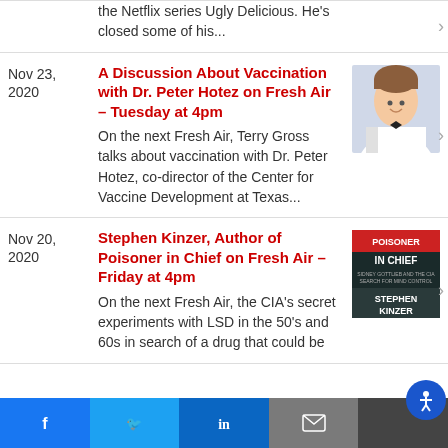the Netflix series Ugly Delicious. He's closed some of his...
Nov 23, 2020
A Discussion About Vaccination with Dr. Peter Hotez on Fresh Air – Tuesday at 4pm
On the next Fresh Air, Terry Gross talks about vaccination with Dr. Peter Hotez, co-director of the Center for Vaccine Development at Texas...
[Figure (photo): Headshot of Dr. Peter Hotez in white lab coat]
Nov 20, 2020
Stephen Kinzer, Author of Poisoner in Chief on Fresh Air – Friday at 4pm
On the next Fresh Air, the CIA's secret experiments with LSD in the 50's and 60s in search of a drug that could be
[Figure (photo): Book cover: Poisoner in Chief by Stephen Kinzer]
[Figure (infographic): Social media share bar with Facebook, Twitter, LinkedIn, Email, and Accessibility buttons]